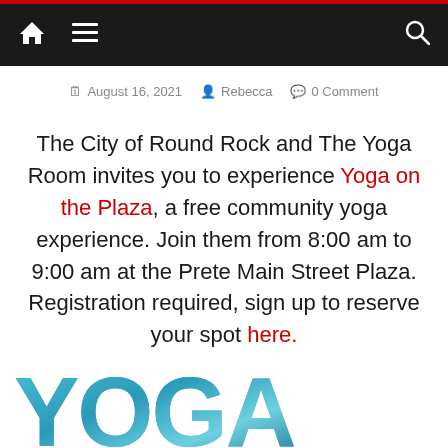Navigation bar with home, menu, and search icons
August 16, 2021   Rebecca   0 Comment
The City of Round Rock and The Yoga Room invites you to experience Yoga on the Plaza, a free community yoga experience. Join them from 8:00 am to 9:00 am at the Prete Main Street Plaza. Registration required, sign up to reserve your spot here.
[Figure (illustration): Partial view of large stylized text 'YOGA' in teal/blue color with photographic texture overlay, cropped at bottom of page]